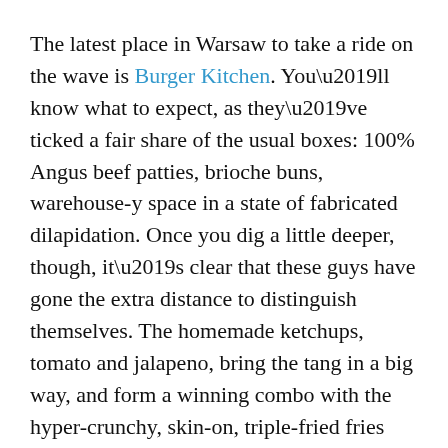The latest place in Warsaw to take a ride on the wave is Burger Kitchen. You’ll know what to expect, as they’ve ticked a fair share of the usual boxes: 100% Angus beef patties, brioche buns, warehouse-y space in a state of fabricated dilapidation. Once you dig a little deeper, though, it’s clear that these guys have gone the extra distance to distinguish themselves. The homemade ketchups, tomato and jalapeno, bring the tang in a big way, and form a winning combo with the hyper-crunchy, skin-on, triple-fried fries (cooked in trans fat-free veggie oil).
Burger-wise, the house special — with